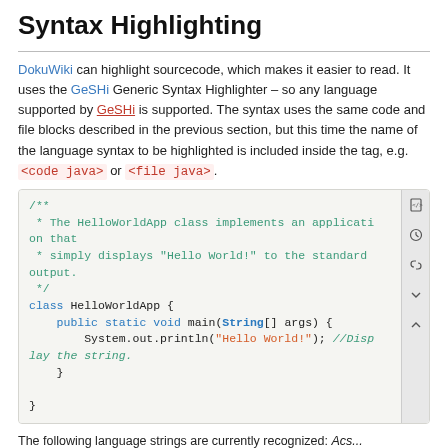Syntax Highlighting
DokuWiki can highlight sourcecode, which makes it easier to read. It uses the GeSHi Generic Syntax Highlighter – so any language supported by GeSHi is supported. The syntax uses the same code and file blocks described in the previous section, but this time the name of the language syntax to be highlighted is included inside the tag, e.g. <code java> or <file java>.
[Figure (screenshot): Syntax-highlighted Java code block showing HelloWorldApp class with comment, class declaration, main method, System.out.println statement, and closing braces. Code uses color highlighting for keywords (blue), strings (orange/red), and comments (green/teal). A sidebar with icons (code, history, link, fold, up) is visible on the right side of the code block.]
The following language strings are currently recognized: Acs...